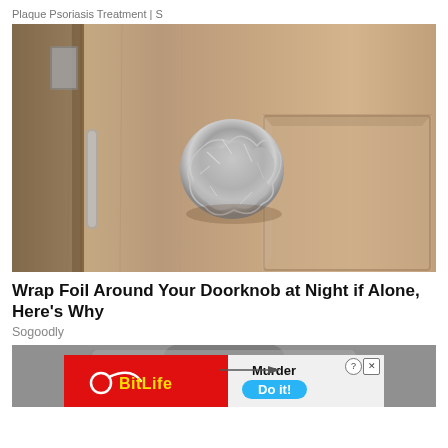Plaque Psoriasis Treatment | S
[Figure (photo): A door knob wrapped in aluminum foil on a wooden door]
Wrap Foil Around Your Doorknob at Night if Alone, Here's Why
Sogoodly
[Figure (photo): Partial image of another article below, partially obscured by advertisement banner]
[Figure (infographic): BitLife advertisement banner with 'Murder Do it!' text and a blue button]